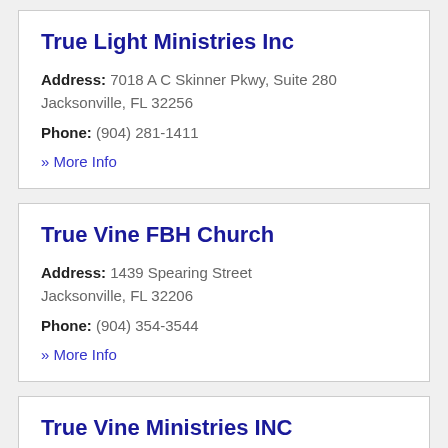True Light Ministries Inc
Address: 7018 A C Skinner Pkwy, Suite 280 Jacksonville, FL 32256
Phone: (904) 281-1411
» More Info
True Vine FBH Church
Address: 1439 Spearing Street Jacksonville, FL 32206
Phone: (904) 354-3544
» More Info
True Vine Ministries INC